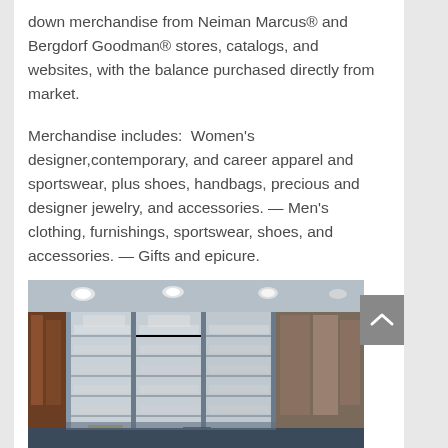down merchandise from Neiman Marcus® and Bergdorf Goodman® stores, catalogs, and websites, with the balance purchased directly from market.
Merchandise includes:  Women's designer,contemporary, and career apparel and sportswear, plus shoes, handbags, precious and designer jewelry, and accessories. — Men's clothing, furnishings, sportswear, shoes, and accessories. — Gifts and epicure.
[Figure (photo): Interior photo of a retail store showing display cases with jewelry and accessories, glass shelving units with merchandise, modern lighting on the ceiling.]